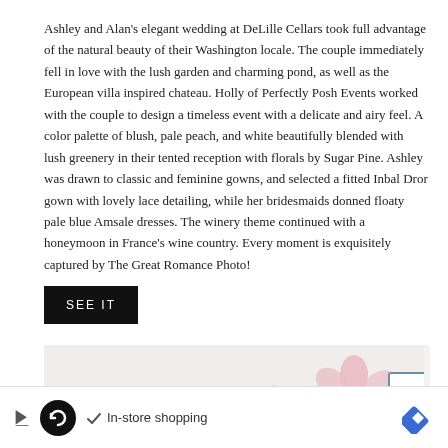Ashley and Alan's elegant wedding at DeLille Cellars took full advantage of the natural beauty of their Washington locale. The couple immediately fell in love with the lush garden and charming pond, as well as the European villa inspired chateau. Holly of Perfectly Posh Events worked with the couple to design a timeless event with a delicate and airy feel. A color palette of blush, pale peach, and white beautifully blended with lush greenery in their tented reception with florals by Sugar Pine. Ashley was drawn to classic and feminine gowns, and selected a fitted Inbal Dror gown with lovely lace detailing, while her bridesmaids donned floaty pale blue Amsale dresses. The winery theme continued with a honeymoon in France's wine country. Every moment is exquisitely captured by The Great Romance Photo!
SEE IT
[Figure (photo): Wedding stationery and floral decorations on a light grey background, including a pink flower, a blue geometric shape, and a framed card.]
[Figure (infographic): Advertisement bar with a play icon, circular loop logo, checkmark with 'In-store shopping' text, and a blue diamond navigation icon.]